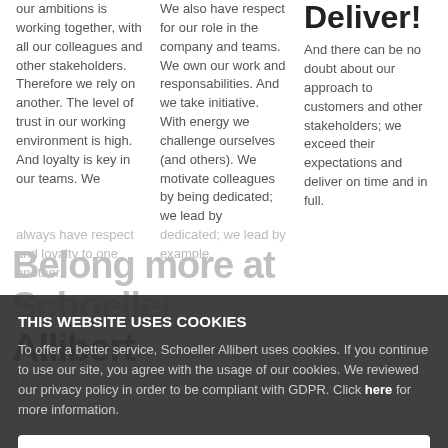our ambitions is working together, with all our colleagues and other stakeholders. Therefore we rely on another. The level of trust in our working environment is high. And loyalty is key in our teams. We always have respect...
We also have respect for our role in the company and teams. We own our work and responsabilities. And we take initiative. With energy we challenge ourselves (and others). We motivate colleagues by being dedicated; we lead by example...
Deliver!
And there can be no doubt about our approach to customers and other stakeholders; we exceed their expectations and deliver on time and in full.
Belong more at Schoeller Allibert
It is a word about our employees. Our employees care about our...
THIS WEBSITE USES COOKIES
To offer a better service, Schoeller Allibert uses cookies. If you continue to use our site, you agree with the usage of our cookies. We reviewed our privacy policy in order to be compliant with GDPR. Click here for more information.